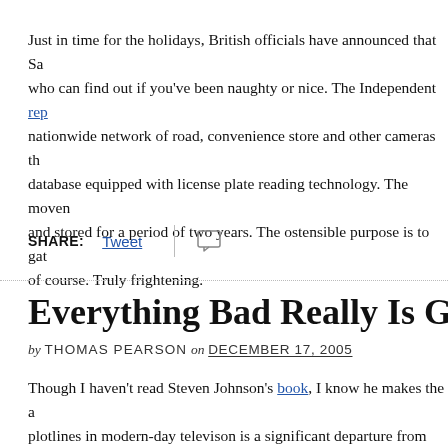Just in time for the holidays, British officials have announced that Sa... who can find out if you've been naughty or nice. The Independent rep... nationwide network of road, convenience store and other cameras th... database equipped with license plate reading technology. The move... and stored for a period of two years. The ostensible purpose is to gat... of course. Truly frightening.
SHARE:  Tweet
Everything Bad Really Is Good For Yo
by THOMAS PEARSON on DECEMBER 17, 2005
Though I haven't read Steven Johnson's book, I know he makes the ... plotlines in modern-day televison is a significant departure from the s... a result, our brains must work harder to digest today's shows. In othe... "smarter" than that of yesteryear. That's all well and good and may be... question of whether TV rots your brain. Answer: not anymore.